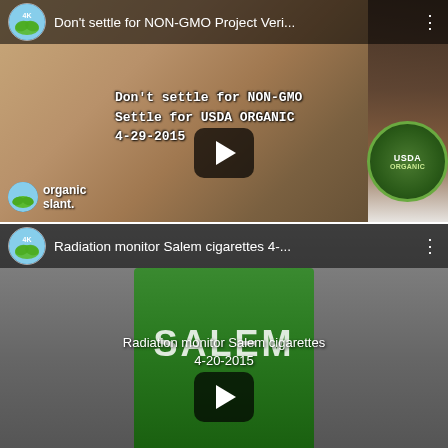[Figure (screenshot): YouTube video thumbnail showing NON-GMO Project Verified label and USDA Organic label on food packaging. Channel icon with leaf logo visible. Title reads 'Don't settle for NON-GMO Project Veri...' Overlay text in monospace: "Don't settle for NON-GMO / Settle for USDA ORGANIC / 4-29-2015". Organic slant watermark in bottom left. Play button in center.]
[Figure (screenshot): YouTube video thumbnail showing Salem cigarette package in green, held against grey background. Channel icon with leaf logo visible. Title reads 'Radiation monitor Salem cigarettes 4-...' Overlay text: 'Radiation monitor Salem cigarettes / 4-20-2015'. Play button in center.]